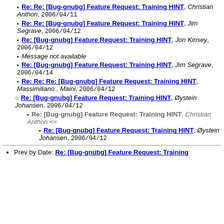Re: Re: [Bug-gnubg] Feature Request: Training HINT, Christian Anthon, 2006/04/11
Re: Re: [Bug-gnubg] Feature Request: Training HINT, Jim Segrave, 2006/04/12
Re: [Bug-gnubg] Feature Request: Training HINT, Jon Kinsey, 2006/04/12
Message not available
Re: [Bug-gnubg] Feature Request: Training HINT, Jim Segrave, 2006/04/14
Re: Re: Re: [Bug-gnubg] Feature Request: Training HINT, Massimiliano . Maini, 2006/04/12
Re: [Bug-gnubg] Feature Request: Training HINT, Øystein Johansen, 2006/04/12
Re: [Bug-gnubg] Feature Request: Training HINT, Christian Anthon <=
Re: [Bug-gnubg] Feature Request: Training HINT, Øystein Johansen, 2006/04/12
Prev by Date: Re: [Bug-gnubg] Feature Request: Training